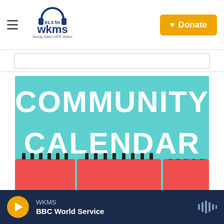[Figure (logo): WKMS 91.3 FM radio station logo with headphones icon and text 'Murray State's NPR Station']
[Figure (screenshot): WKMS Community Calendar promotional image with teal background, large white bold text reading COMMUNITY CALENDAR, and three red calendar month cards at the bottom showing January, February, and March (partially visible)]
WKMS
BBC World Service